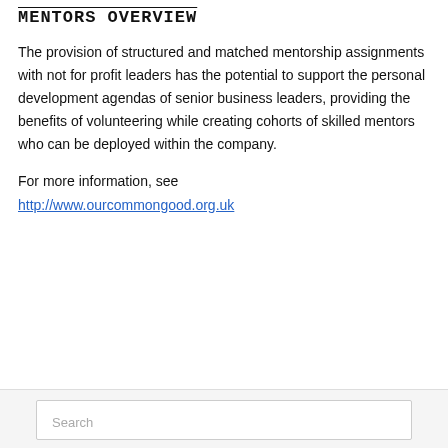MENTORS OVERVIEW
The provision of structured and matched mentorship assignments with not for profit leaders has the potential to support the personal development agendas of senior business leaders, providing the benefits of volunteering while creating cohorts of skilled mentors who can be deployed within the company.
For more information, see http://www.ourcommongood.org.uk